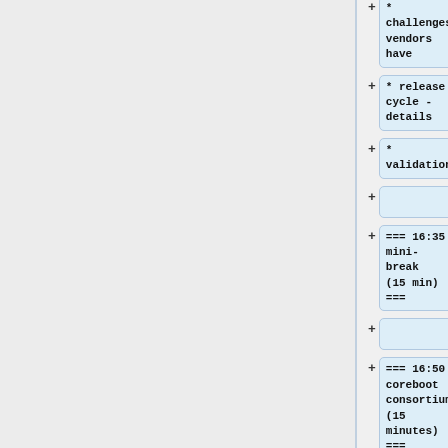* challenges vendors have
* release cycle - details
* validation
=== 16:35 mini-break (15 min) ===
=== 16:50 coreboot consortium (15 minutes) ===